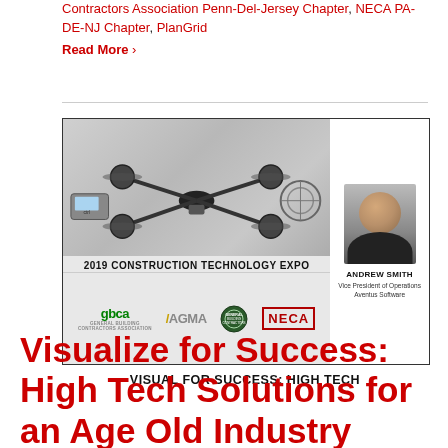Contractors Association Penn-Del-Jersey Chapter, NECA PA-DE-NJ Chapter, PlanGrid
Read More >
[Figure (photo): 2019 Construction Technology Expo banner showing drones and technology equipment on the left, with logos for gbca, AGMA, and NECA at the bottom. On the right is a headshot of Andrew Smith, Vice President of Operations, Aventus Software.]
VISUAL FOR SUCCESS: HIGH TECH
Visualize for Success: High Tech Solutions for an Age Old Industry